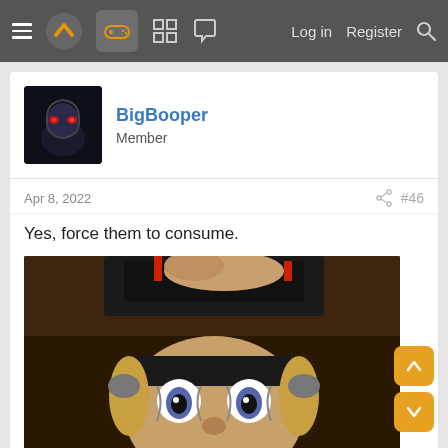Navigation bar: hamburger menu, site logo, games icon (active), grid icon, chat icon, Log in, Register, Search
BigBooper
Member
Apr 8, 2022
#46
Yes, force them to consume.
[Figure (photo): A Clockwork Orange scene: young man with wide open eyes wearing a head restraint device with metal clamps and wires, hands adjusting the device on his head, film still from A Clockwork Orange]
[Figure (other): Scroll up and scroll down navigation buttons (orange rounded squares with white arrows)]